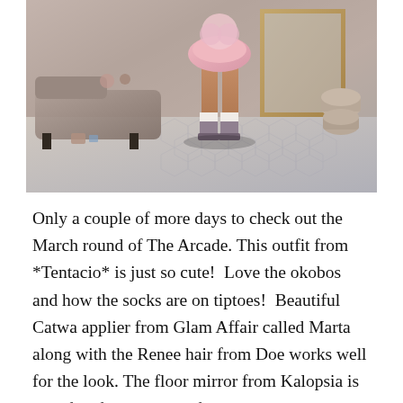[Figure (photo): A virtual world / Second Life style character wearing a pink ruffled outfit with platform shoes and ankle socks, standing in a room with a chaise lounge, decorative items, a floor mirror with gold frame, hexagonal tile floor, and hat boxes.]
Only a couple of more days to check out the March round of The Arcade. This outfit from *Tentacio* is just so cute!  Love the okobos and how the socks are on tiptoes!  Beautiful Catwa applier from Glam Affair called Marta along with the Renee hair from Doe works well for the look. The floor mirror from Kalopsia is a perfect fit with items from the Versaille set from Ariskea. Add in all my new little buddies from Schadenfreude. Cubic